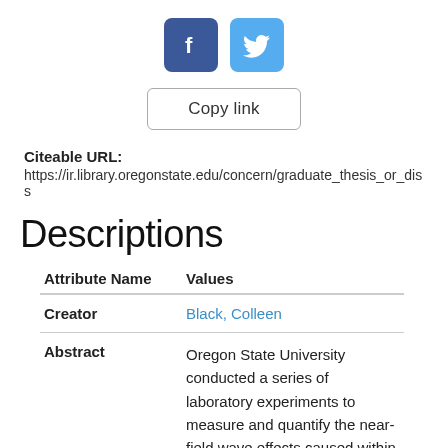[Figure (other): Facebook and Twitter social share buttons (dark blue and light blue rounded squares with f and bird icons)]
Copy link
Citeable URL:
https://ir.library.oregonstate.edu/concern/graduate_thesis_or_diss
Descriptions
| Attribute Name | Values |
| --- | --- |
| Creator | Black, Colleen |
| Abstract | Oregon State University conducted a series of laboratory experiments to measure and quantify the near-field wave effects caused within arrays of Wave Energy Converters (WEC). As the waves and WECs interact, the WECs... |